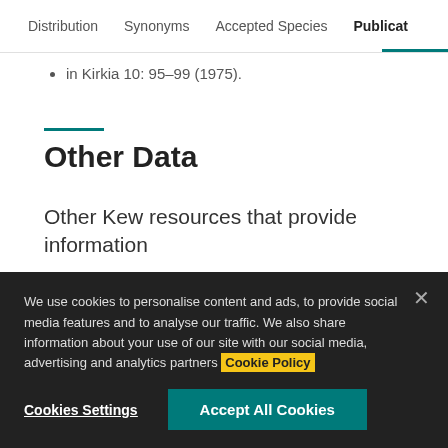Distribution  Synonyms  Accepted Species  Publicat…
in Kirkia 10: 95–99 (1975).
Other Data
Other Kew resources that provide information
We use cookies to personalise content and ads, to provide social media features and to analyse our traffic. We also share information about your use of our site with our social media, advertising and analytics partners Cookie Policy
Cookies Settings  Accept All Cookies